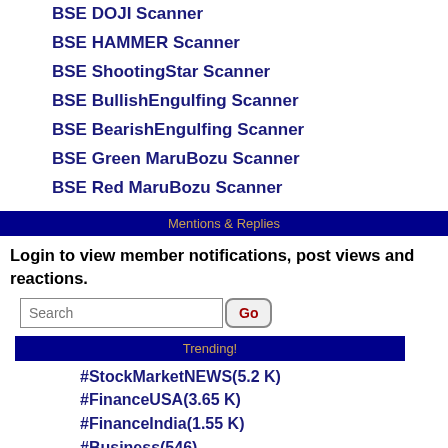BSE DOJI Scanner
BSE HAMMER Scanner
BSE ShootingStar Scanner
BSE BullishEngulfing Scanner
BSE BearishEngulfing Scanner
BSE Green MaruBozu Scanner
BSE Red MaruBozu Scanner
Mentions & Replies
Login to view member notifications, post views and reactions.
Trending!
#StockMarketNEWS(5.2 K)
#FinanceUSA(3.65 K)
#FinanceIndia(1.55 K)
#Business(546)
#MunafaSutra(2)
#MyHandloomMyPride(1)